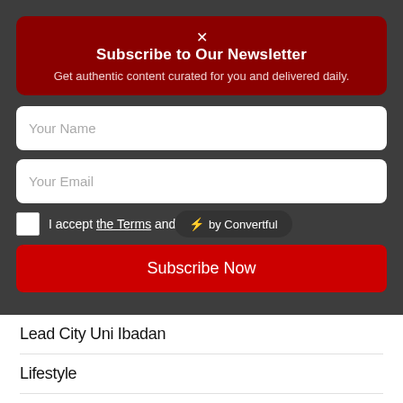Subscribe to Our Newsletter
Get authentic content curated for you and delivered daily.
Your Name
Your Email
I accept the Terms and the Privacy Policy.
Subscribe Now
[Figure (logo): Convertful badge with lightning bolt icon]
Lead City Uni Ibadan
Lifestyle
Limkokwing Uni
Literary Review
London School of Economics & Pol. Science